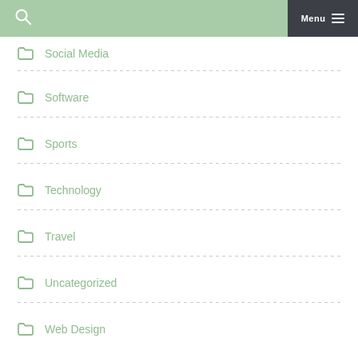Menu
Social Media
Software
Sports
Technology
Travel
Uncategorized
Web Design